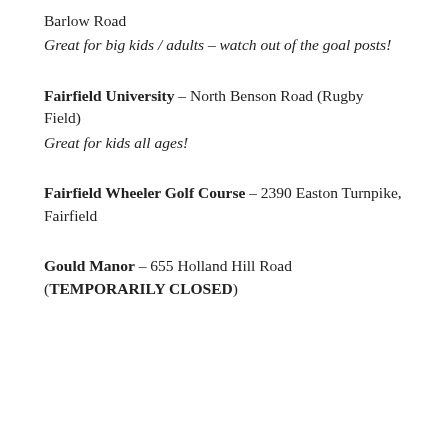Barlow Road
Great for big kids / adults – watch out of the goal posts!
Fairfield University – North Benson Road (Rugby Field)
Great for kids all ages!
Fairfield Wheeler Golf Course – 2390 Easton Turnpike, Fairfield
Gould Manor – 655 Holland Hill Road (TEMPORARILY CLOSED)